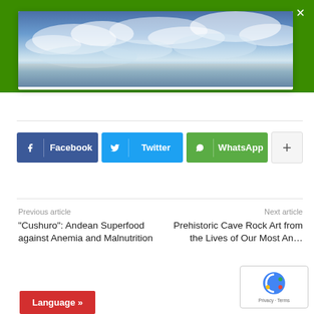[Figure (photo): Screenshot of a webpage showing a sky/clouds banner image inside a white card on a green background, with social share buttons (Facebook, Twitter, WhatsApp, More), article navigation links, and a Language button.]
Facebook
Twitter
WhatsApp
Previous article
“Cushuro”: Andean Superfood against Anemia and Malnutrition
Next article
Prehistoric Cave Rock Art from the Lives of Our Most An…
Language »